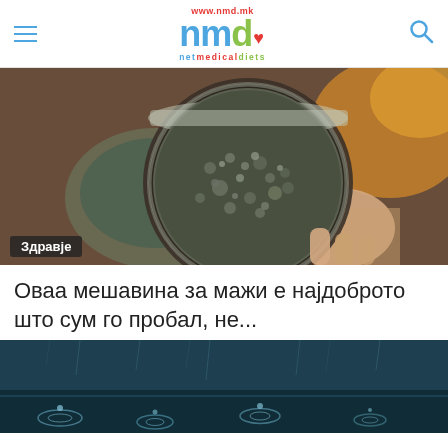www.nmd.mk — netmedicaldiets logo header
[Figure (photo): Close-up photo of a hand holding a glass jar filled with a dark herbal/spice mixture, with a bowl in the background and orange/yellow colors in the far background. Label badge reading 'Здравје' (Health) in bottom-left corner.]
Оваа мешавина за мажи е најдоброто што сум го пробал, не...
[Figure (photo): Photo showing rain falling on a dark water surface with ripples and splashes visible.]